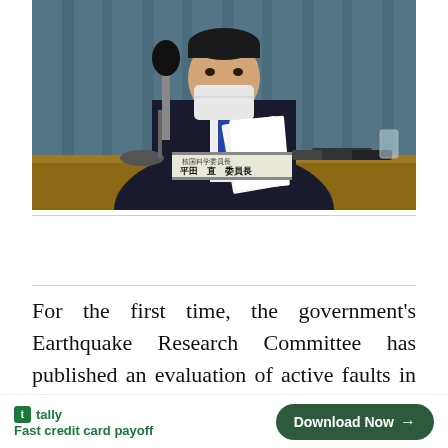[Figure (photo): A Japanese government official in a suit and mask sits at a desk holding papers and a microphone, with a nameplate in Japanese reading 平田 直 委員長 (Chairperson Naoshi Hirata of the Earthquake Research Committee). Blue curtain in background.]
For the first time, the government's Earthquake Research Committee has published an evaluation of active faults in the sea area for large earthquakes that occur along the coast of the southwestern part of the Sea of [Close X] from the C [ad overlay]